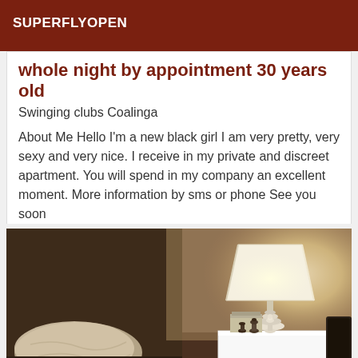SUPERFLYOPEN
whole night by appointment 30 years old
Swinging clubs Coalinga
About Me Hello I'm a new black girl I am very pretty, very sexy and very nice. I receive in my private and discreet apartment. You will spend in my company an excellent moment. More information by sms or phone See you soon
[Figure (photo): Bedroom scene with pillows on left and a white bedside lamp on a white nightstand with chess pieces and books on the right, warm sepia tone]